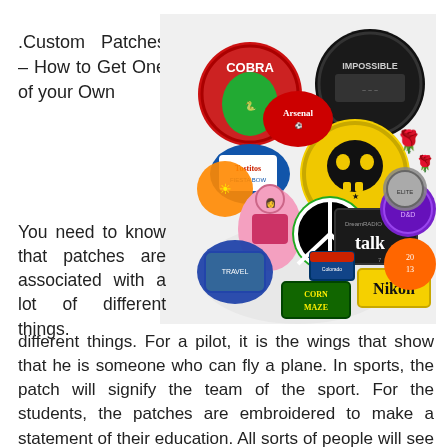.Custom Patches – How to Get One of your Own
[Figure (photo): A heart-shaped collage of various custom embroidered and printed patches including Cobra, Impossible, Tostitos Fiesta Bowl, Arsenal, a skull logo, DreamRadio talk, Corn Maze, Nikon, and other colorful patches.]
You need to know that patches are associated with a lot of different things. For a pilot, it is the wings that show that he is someone who can fly a plane. In sports, the patch will signify the team of the sport. For the students, the patches are embroidered to make a statement of their education. All sorts of people will see that patches are very important to them and this is one major reason.